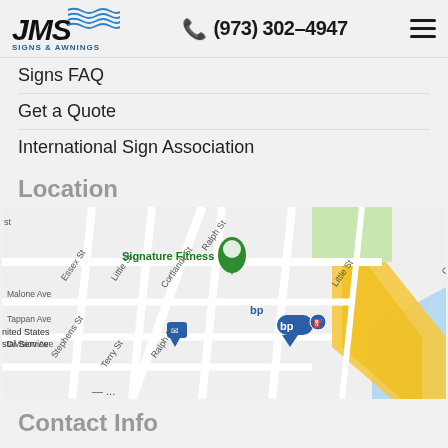JMS Signs & Awnings — (973) 302-4947
Signs FAQ
Get a Quote
International Sign Association
Location
[Figure (map): Google Maps embed showing the area around Signature Fitness with street labels: Malone Ave, Tappan Ave, Division Ave, Little St, Essex St, Cortlandt St, Ralph St, Terry St, Stephens St. Shows United States Postal Service pin and bp gas station pin. Yellow road (highway) and blue water visible on the right.]
Contact Info